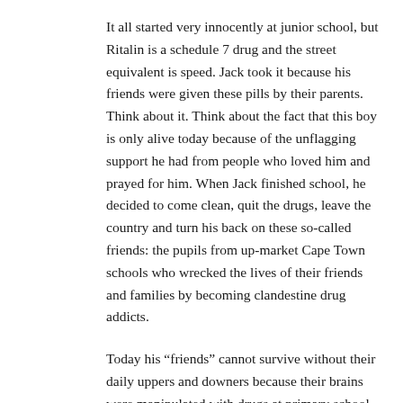It all started very innocently at junior school, but Ritalin is a schedule 7 drug and the street equivalent is speed. Jack took it because his friends were given these pills by their parents. Think about it. Think about the fact that this boy is only alive today because of the unflagging support he had from people who loved him and prayed for him. When Jack finished school, he decided to come clean, quit the drugs, leave the country and turn his back on these so-called friends: the pupils from up-market Cape Town schools who wrecked the lives of their friends and families by becoming clandestine drug addicts.
Today his “friends” cannot survive without their daily uppers and downers because their brains were manipulated with drugs at primary school. No